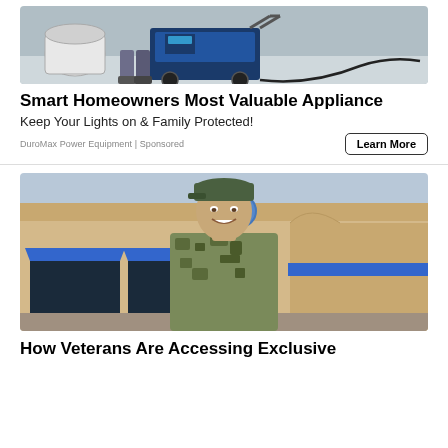[Figure (photo): Photo of a portable generator being connected to a propane tank outdoors]
Smart Homeowners Most Valuable Appliance
Keep Your Lights on & Family Protected!
DuroMax Power Equipment | Sponsored
Learn More
[Figure (photo): Photo of a smiling military veteran in camouflage uniform standing in front of a commercial building with blue awnings]
How Veterans Are Accessing Exclusive